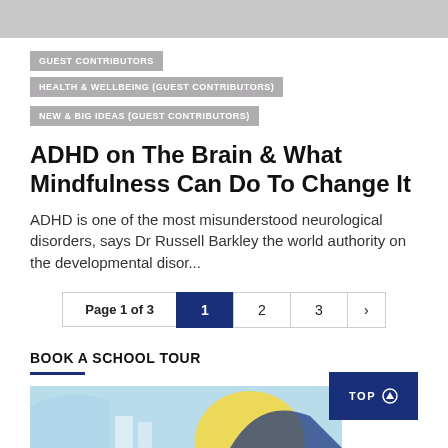[Figure (other): Gray banner/header image strip at top of page]
GUEST CONTRIBUTORS | HEALTH & WELLBEING (GUEST CONTRIBUTORS) | NEW & BIG IDEAS (GUEST CONTRIBUTORS)
ADHD on The Brain & What Mindfulness Can Do To Change It
ADHD is one of the most misunderstood neurological disorders, says Dr Russell Barkley the world authority on the developmental disor...
Page 1 of 3  1  2  3  >
BOOK A SCHOOL TOUR
[Figure (illustration): Colorful school tour illustration with blue, yellow, and teal shapes]
TOP